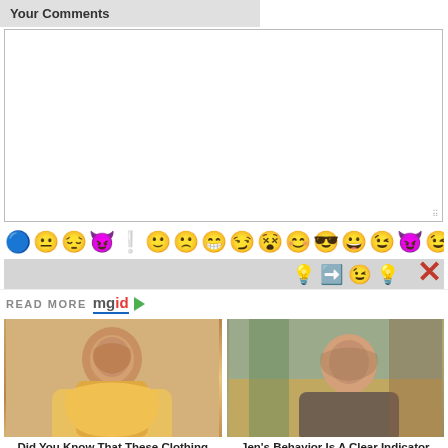Your Comments
[Figure (other): Empty comment text area input box]
[Figure (other): Emoji picker toolbar with various emoji faces including question mark, neutral, sad, devil, exclamation, smile, frown, big grin, smirk, crazy eyes, happy, sunglasses, grin, wink, devil grin, wink, smile; second row with lightbulb, arrow, wink, idea emoji; close X button]
READ MORE mgid
[Figure (photo): Photo of a woman with long brown ombre hair wearing a yellow outfit]
Did You Know That These Clothing Items Made Men Crazy?
[Figure (photo): Photo of Jennifer Aniston sitting on a couch with hand near her head]
Jen's Behavior Is A Clear Indicator That She's Not Approachable